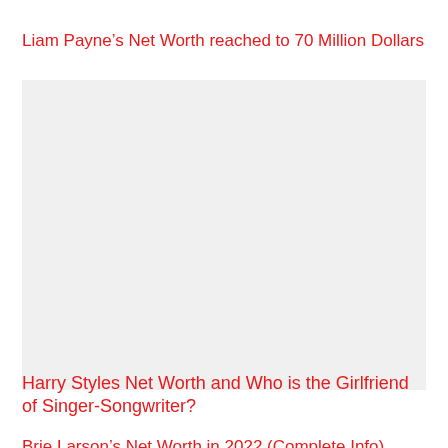Liam Payne’s Net Worth reached to 70 Million Dollars
[Figure (photo): Image placeholder area related to Liam Payne article]
Harry Styles Net Worth and Who is the Girlfriend of Singer-Songwriter?
Brie Larson’s Net Worth in 2022 (Complete Info)